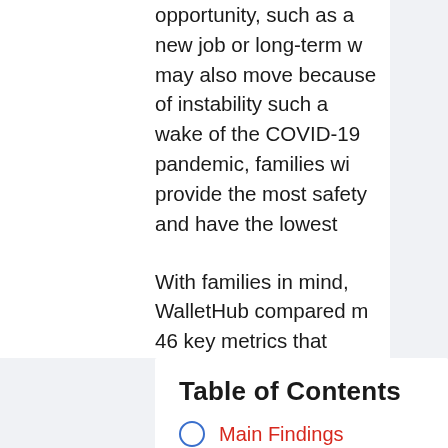opportunity, such as a new job or long-term w... may also move because of instability such a... wake of the COVID-19 pandemic, families wi... provide the most safety and have the lowest...
With families in mind, WalletHub compared m... 46 key metrics that consider essential family... housing, the quality of local school and health... opportunities for fun and recreation. While ob... personal preferences and the limitations of p... will hopefully give movers a sense of their op...
Table of Contents
Main Findings